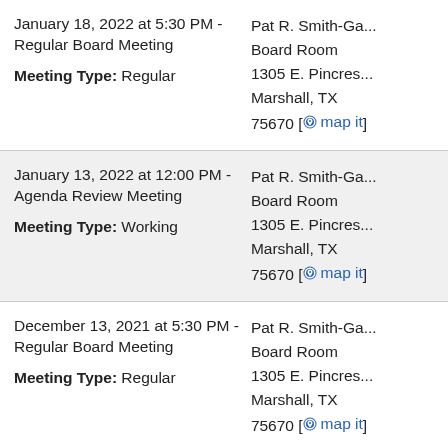January 18, 2022 at 5:30 PM - Regular Board Meeting
Meeting Type: Regular
Pat R. Smith-Ga... Board Room 1305 E. Pinecres... Marshall, TX 75670 [map it]
January 13, 2022 at 12:00 PM - Agenda Review Meeting
Meeting Type: Working
Pat R. Smith-Ga... Board Room 1305 E. Pinecres... Marshall, TX 75670 [map it]
December 13, 2021 at 5:30 PM - Regular Board Meeting
Meeting Type: Regular
Pat R. Smith-Ga... Board Room 1305 E. Pinecres... Marshall, TX 75670 [map it]
December 9, 2021 at 12:00 PM - Pat R. Smith-Ga...